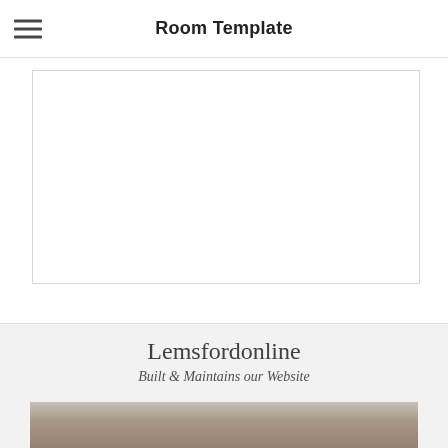Room Template
[Figure (other): White rectangular content box with border, partially visible at top of main area]
Lemsfordonline
Built & Maintains our Website
[Figure (photo): Photo of a person outdoors, partially visible at bottom of page]